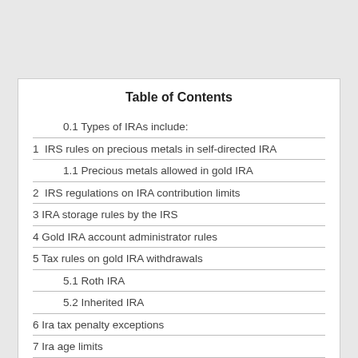Table of Contents
0.1 Types of IRAs include:
1  IRS rules on precious metals in self-directed IRA
1.1 Precious metals allowed in gold IRA
2  IRS regulations on IRA contribution limits
3 IRA storage rules by the IRS
4 Gold IRA account administrator rules
5 Tax rules on gold IRA withdrawals
5.1 Roth IRA
5.2 Inherited IRA
6 Ira tax penalty exceptions
7 Ira age limits
8 Special expenses in gold IRAs
8.1 Conclusion